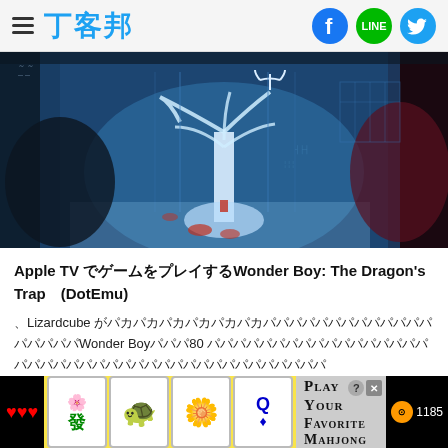丁客邦
[Figure (screenshot): Game screenshot showing a stylized blue-toned scene with a glowing white tree in the center, misty atmosphere, and red elements on the sides — appears to be from Wonder Boy: The Dragon's Trap]
Apple TV でゲームをプレイするWonder Boy: The Dragon's Trapが (DotEmu)
、Lizardcube が開発したリメイク版で、オリジナルのWonder Boyのゲームプレイを80 年代のグラフィックスとモダンなビジュアルで再現したゲームです。
[Figure (other): Mahjong game advertisement banner with tiles showing Chinese characters, Play Your Favorite Mahjong text, hearts and coin UI elements]